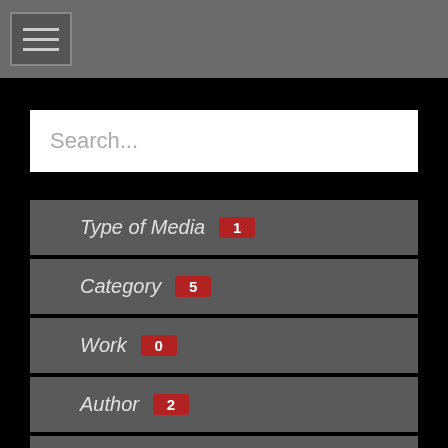[Figure (screenshot): Navigation hamburger menu icon button in grey bar]
Search...
Type of Media 1
Category 5
Work 0
Author 2
Date 7
[Figure (logo): DARE logo with stylized Hebrew/geometric letters in red and white]